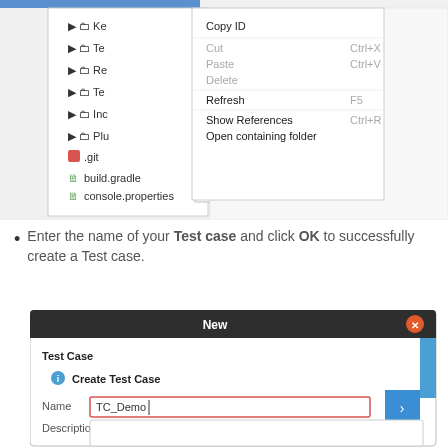[Figure (screenshot): IDE file tree with right-click context menu showing options: Copy ID, Cut (Ctrl+X), Paste (Ctrl+V), Delete, Refresh (F5), Show References (Ctrl+R), Open containing folder. Tree items partially visible: Ke..., Te..., Re..., Te..., Inc..., Plu..., .git, build.gradle, console.properties]
Enter the name of your Test case and click OK to successfully create a Test case.
[Figure (screenshot): Dialog box titled 'New' with close button. Contains section 'Test Case' with info icon and text 'Create Test Case'. Fields: Name (filled with 'TC_Demo'), Description (empty text area). Blue arrow button on right side.]